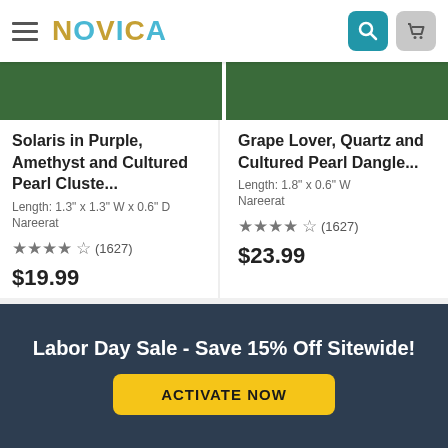NOVICA
Solaris in Purple, Amethyst and Cultured Pearl Cluste...
Length: 1.3" x 1.3" W x 0.6" D
Nareerat
★★★★★ (1627)
$19.99
Grape Lover, Quartz and Cultured Pearl Dangle...
Length: 1.8" x 0.6" W
Nareerat
★★★★★ (1627)
$23.99
[Figure (photo): Two product thumbnail photos showing earrings on green background]
[Figure (photo): Two bottom product thumbnail photos: left shows dangling earrings on branch against green bokeh background; right shows earrings with New Arrival badge on brown branch against pink background]
New Arrival
Labor Day Sale - Save 15% Off Sitewide!
ACTIVATE NOW